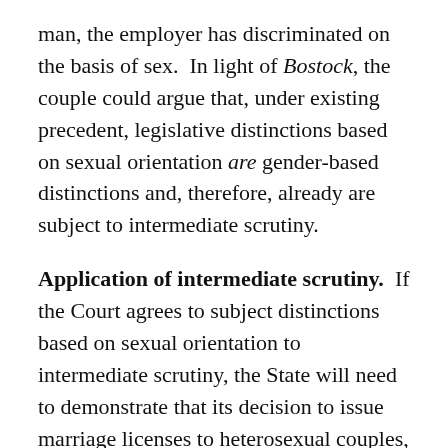man, the employer has discriminated on the basis of sex.  In light of Bostock, the couple could argue that, under existing precedent, legislative distinctions based on sexual orientation are gender-based distinctions and, therefore, already are subject to intermediate scrutiny.
Application of intermediate scrutiny.  If the Court agrees to subject distinctions based on sexual orientation to intermediate scrutiny, the State will need to demonstrate that its decision to issue marriage licenses to heterosexual couples, while denying them to gay and lesbian couples, was intended to further an “important” government interest